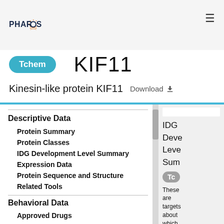PHAROS
Tchem
KIF11
Kinesin-like protein KIF11  Download
Descriptive Data
Protein Summary
Protein Classes
IDG Development Level Summary
Expression Data
Protein Sequence and Structure
Related Tools
Behavioral Data
Approved Drugs
IDG Development Level Summary
Tchem
These are targets about which